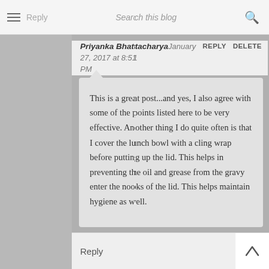Reply  Search this blog
Priyanka Bhattacharya January 27, 2017 at 8:51 PM  REPLY  DELETE
This is a great post...and yes, I also agree with some of the points listed here to be very effective. Another thing I do quite often is that I cover the lunch bowl with a cling wrap before putting up the lid. This helps in preventing the oil and grease from the gravy enter the nooks of the lid. This helps maintain hygiene as well.
Reply